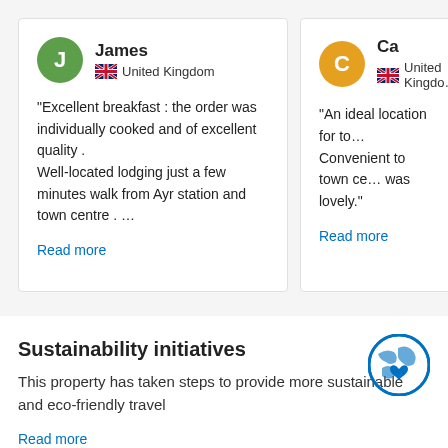James
United Kingdom
"Excellent breakfast : the order was individually cooked and of excellent quality .
Well-located lodging just a few minutes walk from Ayr station and town centre . …
Read more
Ca
United Kingdom
"An ideal location for to... Convenient to town ce... was lovely."
Read more
Sustainability initiatives
This property has taken steps to provide more sustainable and eco-friendly travel
Read more